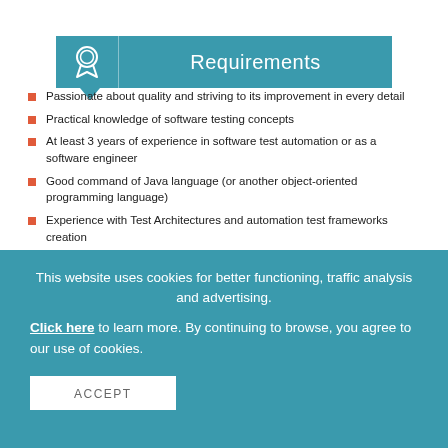Requirements
Passionate about quality and striving to its improvement in every detail
Practical knowledge of software testing concepts
At least 3 years of experience in software test automation or as a software engineer
Good command of Java language (or another object-oriented programming language)
Experience with Test Architectures and automation test frameworks creation
Hands-on working experience with SQL or PL/SQL
This website uses cookies for better functioning, traffic analysis and advertising.
Click here to learn more. By continuing to browse, you agree to our use of cookies.
ACCEPT